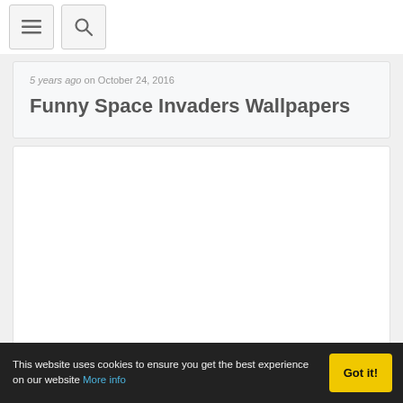Navigation bar with menu and search buttons
5 years ago on October 24, 2016
Funny Space Invaders Wallpapers
[Figure (photo): Blank white image placeholder area]
This website uses cookies to ensure you get the best experience on our website More info Got it!